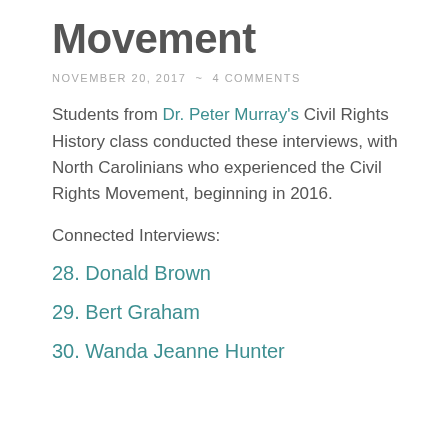Movement
NOVEMBER 20, 2017  ~  4 COMMENTS
Students from Dr. Peter Murray's Civil Rights History class conducted these interviews, with North Carolinians who experienced the Civil Rights Movement, beginning in 2016.
Connected Interviews:
28. Donald Brown
29. Bert Graham
30. Wanda Jeanne Hunter